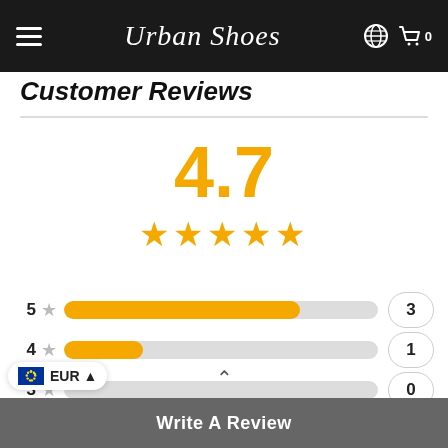Urban Shoes
Customer Reviews
[Figure (other): Overall rating display: 4.7 score in large gold text with 5 gold stars beneath]
[Figure (bar-chart): Rating breakdown]
Write A Review